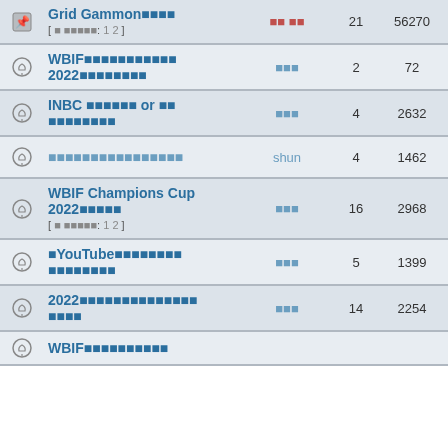|  | タイトル | 著者 | 返信 | 閲覧 | 最終投稿 |
| --- | --- | --- | --- | --- | --- |
| 📌 | Grid Gammon■■■■ [ ■ ■■■■■: 1 2 ] | ■■ ■■ | 21 | 56270 | 2022/■ ■■■/iz |
| 🔔 | WBIF■■■■■■■■■■■ 2022■■■■■■■■ | ■■■ | 2 | 72 | ■ mart |
| 🔔 | INBC ■■■■■■ or ■■ ■■■■■■■■ | ■■■ | 4 | 2632 | 2022/■ ■ |
| 🔔 | ■■■■■■■■■■■■■■■■ | shun | 4 | 1462 | 2022/■ sa |
| 🔔 | WBIF Champions Cup 2022■■■■■ [ ■ ■■■■■: 1 2 ] | ■■■ | 16 | 2968 | 2022/■ ■ |
| 🔔 | ■YouTube■■■■■■■■ ■■■■■■■■ | ■■■ | 5 | 1399 | 2022/■ |
| 🔔 | 2022■■■■■■■■■■■■■■ ■■■■ | ■■■ | 14 | 2254 | 2022/■ |
| 🔔 | WBIF■■■■■■■■■■ | ■■■ |  |  | 2021/■ |